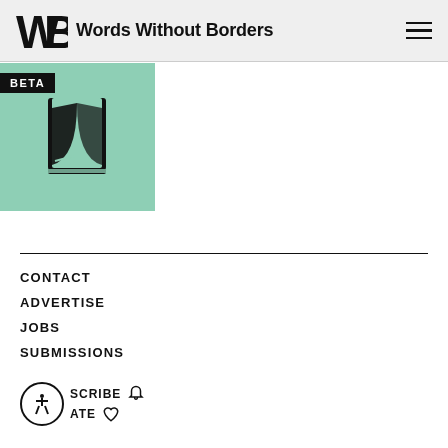Words Without Borders
[Figure (illustration): Green square book cover illustration with a stylized open book icon, partially cropped at top. Black 'BETA' badge overlaid on top-left.]
CONTACT
ADVERTISE
JOBS
SUBMISSIONS
SUBSCRIBE (bell icon)  DONATE (heart icon)